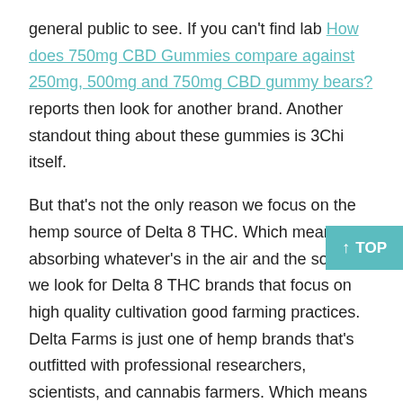general public to see. If you can't find lab How does 750mg CBD Gummies compare against 250mg, 500mg and 750mg CBD gummy bears? reports then look for another brand. Another standout thing about these gummies is 3Chi itself.

But that's not the only reason we focus on the hemp source of Delta 8 THC. Which means, it's absorbing whatever's in the air and the soil. So, we look for Delta 8 THC brands that focus on high quality cultivation good farming practices. Delta Farms is just one of hemp brands that's outfitted with professional researchers, scientists, and cannabis farmers. Which means their cannabinoid-based products are out of this world.